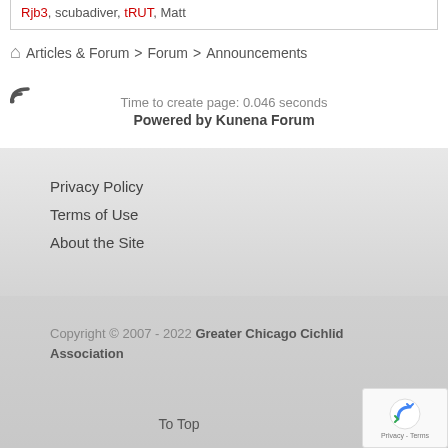Rjb3, scubadiver, tRUT, Matt
Articles & Forum > Forum > Announcements
Time to create page: 0.046 seconds
Powered by Kunena Forum
Privacy Policy
Terms of Use
About the Site
Copyright © 2007 - 2022 Greater Chicago Cichlid Association
To Top